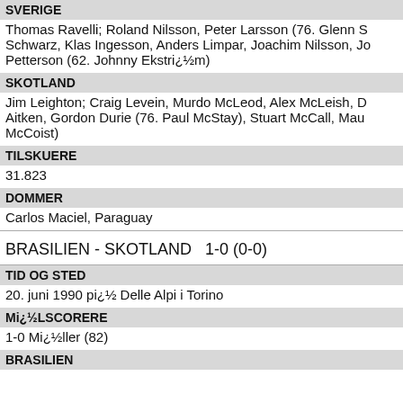SVERIGE
Thomas Ravelli; Roland Nilsson, Peter Larsson (76. Glenn S Schwarz, Klas Ingesson, Anders Limpar, Joachim Nilsson, Jo Petterson (62. Johnny Ekstri¿½m)
SKOTLAND
Jim Leighton; Craig Levein, Murdo McLeod, Alex McLeish, D Aitken, Gordon Durie (76. Paul McStay), Stuart McCall, Mau McCoist)
TILSKUERE
31.823
DOMMER
Carlos Maciel, Paraguay
BRASILIEN - SKOTLAND   1-0 (0-0)
TID OG STED
20. juni 1990 pi¿½ Delle Alpi i Torino
MI¿½LSCORERE
1-0 Mi¿½ller (82)
BRASILIEN